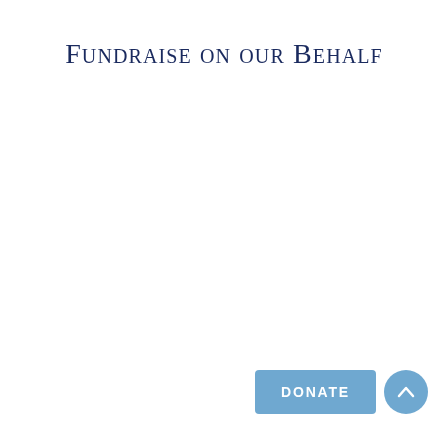Fundraise on our Behalf
[Figure (other): Blue DONATE button and blue circular scroll-to-top arrow button in the bottom right corner of the page]